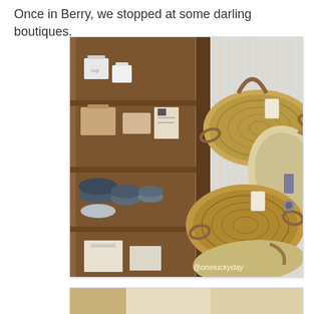Once in Berry, we stopped at some darling boutiques.
[Figure (photo): Interior of a boutique shop showing woven straw/seagrass baskets hanging on a wall next to a wooden shelving unit. The shelves contain ceramic mugs, clay pots, small containers, and wrapped packages. Multiple round and oval flat baskets with leather handles are hung on what appears to be a door. Watermark reads @oneluckyday.]
[Figure (photo): Partial view of another boutique item, appears to be a light wooden or cream colored object, cropped at bottom of page.]